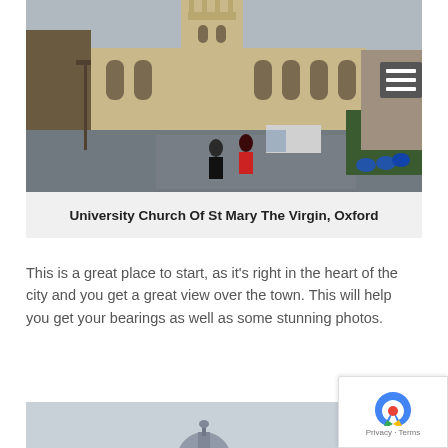[Figure (photo): Photograph of University Church of St Mary the Virgin, Oxford. Gothic stone church with tall tower, street scene with pedestrians and bicycles in foreground.]
University Church Of St Mary The Virgin, Oxford
This is a great place to start, as it's right in the heart of the city and you get a great view over the town. This will help you get your bearings as well as some stunning photos.
[Figure (photo): Partial view of a domed building against a grey sky, bottom of page.]